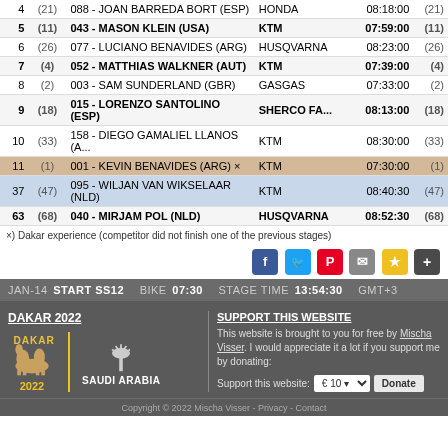| Rank | (Pos) | Bib - Rider | Brand | Time | (Pos) |
| --- | --- | --- | --- | --- | --- |
| 4 | (21) | 088 - JOAN BARREDA BORT (ESP) | HONDA | 08:18:00 | (21) |
| 5 | (11) | 043 - MASON KLEIN (USA) | KTM | 07:59:00 | (11) |
| 6 | (26) | 077 - LUCIANO BENAVIDES (ARG) | HUSQVARNA | 08:23:00 | (26) |
| 7 | (4) | 052 - MATTHIAS WALKNER (AUT) | KTM | 07:39:00 | (4) |
| 8 | (2) | 003 - SAM SUNDERLAND (GBR) | GASGAS | 07:33:00 | (2) |
| 9 | (18) | 015 - LORENZO SANTOLINO (ESP) | SHERCO FA... | 08:13:00 | (18) |
| 10 | (33) | 158 - DIEGO GAMALIEL LLANOS (A... | KTM | 08:30:00 | (33) |
| 11 | (1) | 001 - KEVIN BENAVIDES (ARG) × | KTM | 07:30:00 | (1) |
| 37 | (47) | 095 - WILJAN VAN WIKSELAAR (NLD) | KTM | 08:40:30 | (47) |
| 63 | (68) | 040 - MIRJAM POL (NLD) | HUSQVARNA | 08:52:30 | (68) |
×) Dakar experience (competitor did not finish one of the previous stages)
[Figure (infographic): Social share icons: Facebook, Twitter, Pinterest, Email, Star/Bookmark, Plus]
JAN-14  START SS12  BIKE 07:30  STAGE TIME  13:54:30  GMT+3
DAKAR 2022
[Figure (logo): Dakar 2022 logo with Saudi Arabia palm tree logo]
SUPPORT THIS WEBSITE
This website is brought to you for free by Mischa Visser. I would appreciate it a lot if you support me by donating:
Support this website: € 10  Donate
Copyright © 2022 Mischa Visser - Privacy - Contact